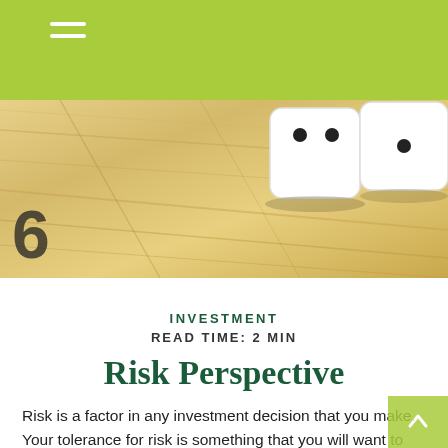[Figure (photo): Close-up photo of white dice with black dots resting on a light wooden surface, showing sides with 1, 2, 5, and 6 dots visible.]
INVESTMENT
READ TIME: 2 MIN
Risk Perspective
Risk is a factor in any investment decision that you make. Your tolerance for risk is something that you will want to consider when you make decisions alongside your trusted financial professional. Your risk tolerance is balanced